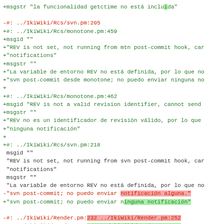diff code block showing git diff / gettext PO file changes with green additions and red deletions, with highlighted spans for changed words